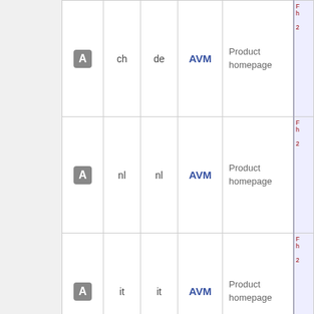|  | Ctry | Lng | Ann | Src | Info/Scan |
| --- | --- | --- | --- | --- | --- |
| [A] | ch | de | AVM | Product homepage | ... |
| [A] | nl | nl | AVM | Product homepage | ... |
| [A] | it | it | AVM | Product homepage | ... |
| 18 websites for this model |  |  |  |  |  |
Legend: = live URL. - = hosted here. - = from archive.org. - = non public. - = dead link. - Bold = service portal.
Downloads
Daily updated index of all FRITZ!Box Fon WLAN 7170 v1 downloads. Last update: 2022-08-29 03:55 GMT.
|  | Ctry | Lng | Ann | Src | Info / Scan |
| --- | --- | --- | --- | --- | --- |